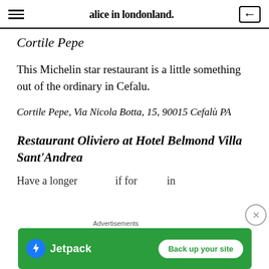alice in londonland.
Cortile Pepe
This Michelin star restaurant is a little something out of the ordinary in Cefalu.
Cortile Pepe, Via Nicola Botta, 15, 90015 Cefalù PA
Restaurant Oliviero at Hotel Belmond Villa Sant'Andrea
Advertisements
[Figure (screenshot): Jetpack advertisement banner with 'Back up your site' button on green background]